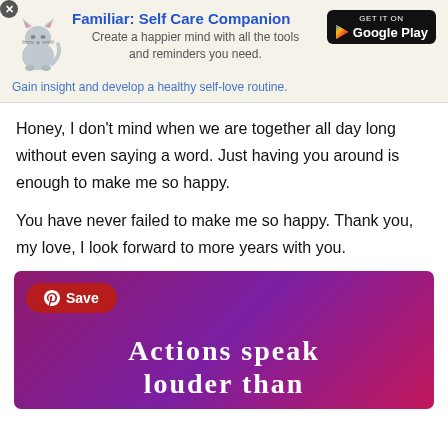[Figure (infographic): App advertisement banner for 'Familiar: Self Care Companion' with cat illustration and Google Play button. Text: 'Create a happier mind with all the tools and reminders you need.' and 'Gain insight and develop a healthy self-love routine.']
Honey, I don't mind when we are together all day long without even saying a word. Just having you around is enough to make me so happy.
You have never failed to make me so happy. Thank you, my love, I look forward to more years with you.
[Figure (infographic): Purple/magenta gradient image with Pinterest Save button and large white text reading 'Actions speak louder than']